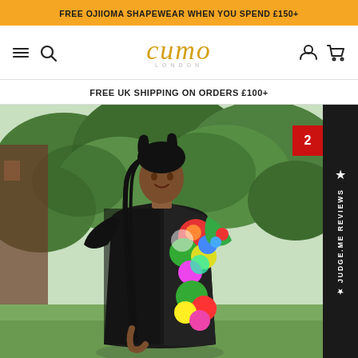FREE OJIIOMA SHAPEWEAR WHEN YOU SPEND £150+
[Figure (screenshot): Website navigation bar with hamburger menu icon, search icon, Cumo London logo in gold italic text, user account icon, and shopping cart icon]
FREE UK SHIPPING ON ORDERS £100+
[Figure (photo): Woman wearing a black and colorful floral print dress standing outdoors with green trees in background. A red badge with '2' is visible in the top right area, and a Judge.me Reviews vertical sidebar is on the right side.]